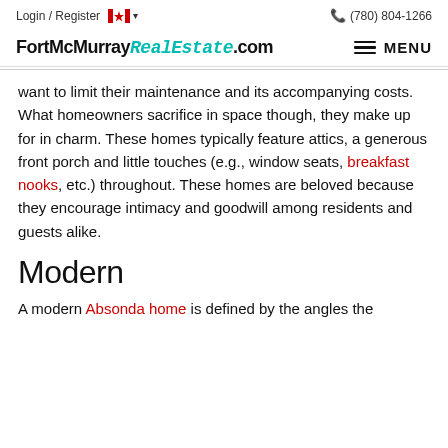Login / Register  🇨🇦 ▾  (780) 804-1266
FortMcMurray RealEstate .com  ≡ MENU
want to limit their maintenance and its accompanying costs. What homeowners sacrifice in space though, they make up for in charm. These homes typically feature attics, a generous front porch and little touches (e.g., window seats, breakfast nooks, etc.) throughout. These homes are beloved because they encourage intimacy and goodwill among residents and guests alike.
Modern
A modern Absonda home is defined by the angles the